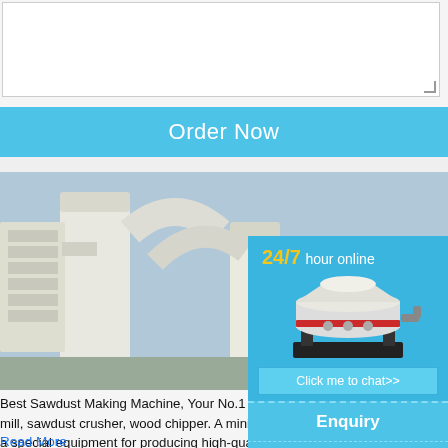[Figure (other): Textarea input box with resize handle in bottom-right corner]
Order Now
[Figure (photo): Industrial sawdust making machine / wood grinding mill equipment, large white industrial machinery with pipes and silos outdoors]
Best Sawdust Making Machine, Your No.1 Wood Fier Sawdust Making machine is also known as er mill, sawdust crusher, wood chipper. A mini is a special equipment for producing high-quality (sawdust). Fier sawdust making machines are papermaking, edible fungi, mechanism cha d, sawdust board, high-density board, medium
Read More
[Figure (infographic): Blue sidebar with 24/7 hour online text, cone crusher machine image, Click me to chat>> button, Enquiry section, and limingjlmofen text]